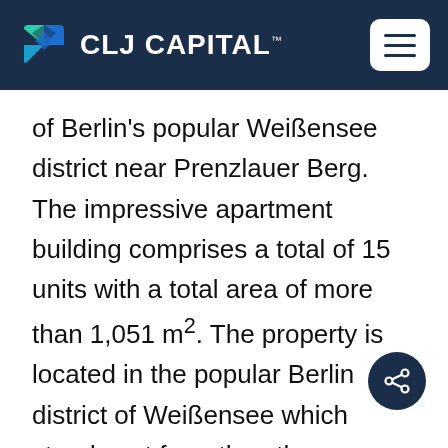CLJ CAPITAL
of Berlin's popular Weißensee district near Prenzlauer Berg. The impressive apartment building comprises a total of 15 units with a total area of more than 1,051 m². The property is located in the popular Berlin district of Weißensee which stands out from the other districts due to its green & idyllic perception. Weißensee is characterized by